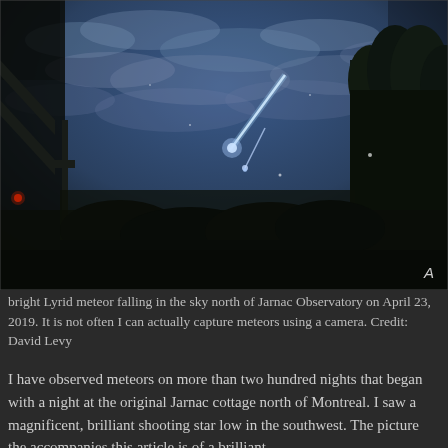[Figure (photo): Night sky photograph showing a bright Lyrid meteor streaking across a dark blue cloudy sky, with silhouettes of trees and structures in the foreground. Taken north of Jarnac Observatory on April 23, 2019. Letter 'A' appears in lower right corner of image.]
bright Lyrid meteor falling in the sky north of Jarnac Observatory on April 23, 2019. It is not often I can actually capture meteors using a camera. Credit: David Levy
I have observed meteors on more than two hundred nights that began with a night at the original Jarnac cottage north of Montreal. I saw a magnificent, brilliant shooting star low in the southwest. The picture the accompanies this article is of a brilliant